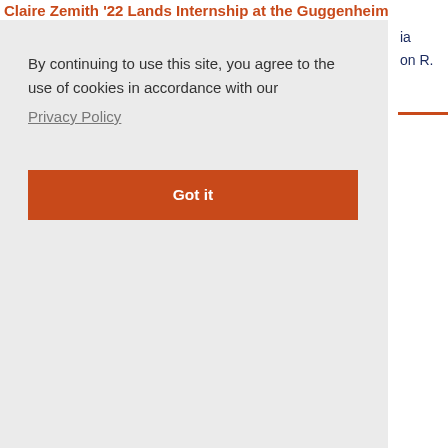Claire Zemith '22 Lands Internship at the Guggenheim
By continuing to use this site, you agree to the use of cookies in accordance with our Privacy Policy
Got it
ia
on R.
[Figure (photo): Book cover for Amanda Eubanks Winkler's book, showing a historical engraving of a crowded indoor scene, with blue spine and white top band showing author name]
(Jan. 13, 2022)
Amanda Eubanks Winkler's Book Wins Honorable Mention
Professor Eubanks Winkler's book is awarded an Honorable